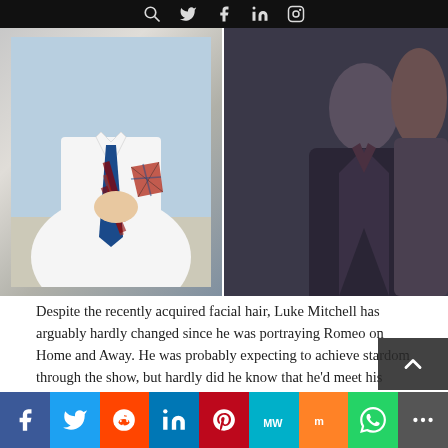[Social media icon navigation bar]
[Figure (photo): Two side-by-side photos: left photo shows a man in a white dress shirt with a blue and red striped tie; right photo shows a man in a dark brown/navy blazer]
Despite the recently acquired facial hair, Luke Mitchell has arguably hardly changed since he was portraying Romeo on Home and Away. He was probably expecting to achieve stardom through the show, but hardly did he know that he'd meet his future wife there too! He got married to Rebecca Breeds, who was playing Ruby, in 2013.
Mitchell has never stopped acting, unlike other cast-members we've seen so far. In fact, for 2021, he's going to be playing on the Without Remorse film, and according to IMDb, on a series called The Republic of Sarah. He's
Facebook Twitter Reddit LinkedIn Pinterest MeWe Mix WhatsApp Share